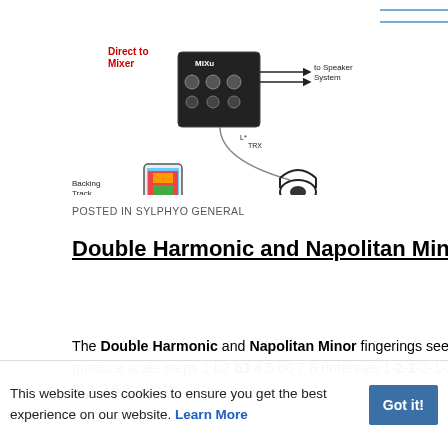[Figure (schematic): Audio routing diagram showing a mixer, backing track player (smartphone), headphones, and speaker connections with labeled signal paths including Direct to Mixer, to Speaker System, Ins, and Balanced labels.]
POSTED IN SYLPHYO GENERAL
Double Harmonic and Napolitan Minor fingerings
The Double Harmonic and Napolitan Minor fingerings seem to be the same. They both produce scale steps 1 b2 b3 4 5 b6 7 8 (intervals 1-2-2-2-1-3-1, pitch class set {0,1,3,5,7,8,11}).
Scala (as of 12-Nov-2018) lists this scale with the names: Neapolitan Minor, Mela Dhenuka. Raga Bhinnasadiam. Dhunibhnashadiam. Kinranti. Takka. Maqam Shahnaz Kurdi, and Hungarian Gipsy. The Wiki page is at https://en.wikipedia.org/wiki/Neapolitan_s...
CLINT
JUN 7, 2022, 7:58 AM
This website uses cookies to ensure you get the best experience on our website. Learn More
Got it!